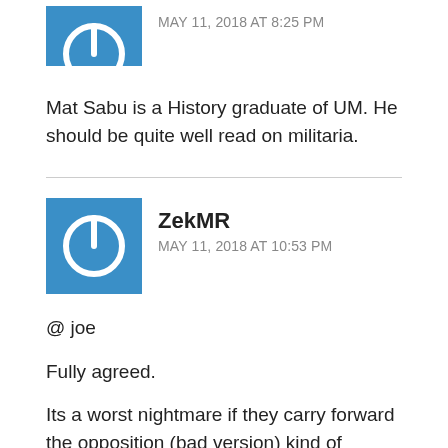[Figure (illustration): Blue square avatar with white power button icon]
MAY 11, 2018 AT 8:25 PM
Mat Sabu is a History graduate of UM. He should be quite well read on militaria.
[Figure (illustration): Blue square avatar with white power button icon]
ZekMR
MAY 11, 2018 AT 10:53 PM
@ joe
Fully agreed.
Its a worst nightmare if they carry forward the opposition (bad version) kind of mentality like before
[Figure (illustration): Blue square avatar with white power button icon]
AM
MAY 12, 2018 AT 1:15 AM